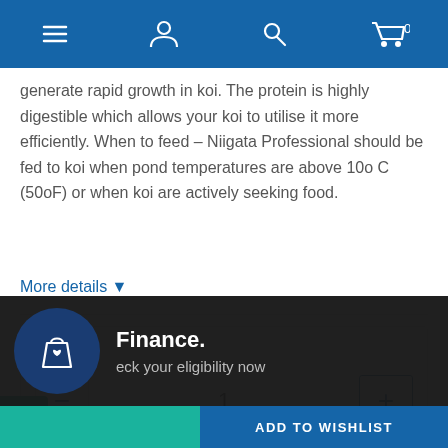Navigation bar with menu, account, search, and cart icons
generate rapid growth in koi. The protein is highly digestible which allows your koi to utilise it more efficiently. When to feed – Niigata Professional should be fed to koi when pond temperatures are above 10o C (50oF) or when koi are actively seeking food.
More details ▼
Quantity  −  1  +
[Figure (screenshot): Finance promotional overlay with shopping bag icon, bold text 'Finance.' and subtext 'eck your eligibility now']
ADD TO WISHLIST